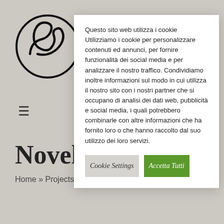[Figure (logo): Wave in a circle logo for Carmignani website]
Carmignani
≡
Novels
Home » Projects
Questo sito web utilizza i cookie Utilizziamo i cookie per personalizzare contenuti ed annunci, per fornire funzionalità dei social media e per analizzare il nostro traffico. Condividiamo inoltre informazioni sul modo in cui utilizza il nostro sito con i nostri partner che si occupano di analisi dei dati web, pubblicità e social media, i quali potrebbero combinarle con altre informazioni che ha fornito loro o che hanno raccolto dal suo utilizzo dei loro servizi.
Cookie Settings
Accetta Tutti